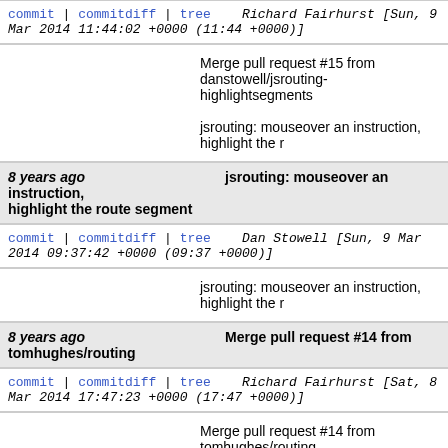commit | commitdiff | tree   Richard Fairhurst [Sun, 9 Mar 2014 11:44:02 +0000 (11:44 +0000)]
Merge pull request #15 from danstowell/jsrouting-highlightsegments

jsrouting: mouseover an instruction, highlight the r
8 years ago   jsrouting: mouseover an instruction, highlight the route segment
commit | commitdiff | tree   Dan Stowell [Sun, 9 Mar 2014 09:37:42 +0000 (09:37 +0000)]
jsrouting: mouseover an instruction, highlight the r
8 years ago   Merge pull request #14 from tomhughes/routing
commit | commitdiff | tree   Richard Fairhurst [Sat, 8 Mar 2014 17:47:23 +0000 (17:47 +0000)]
Merge pull request #14 from tomhughes/routing

Routing
8 years ago   Merge remote-tracking branch 'origin/master' into routing